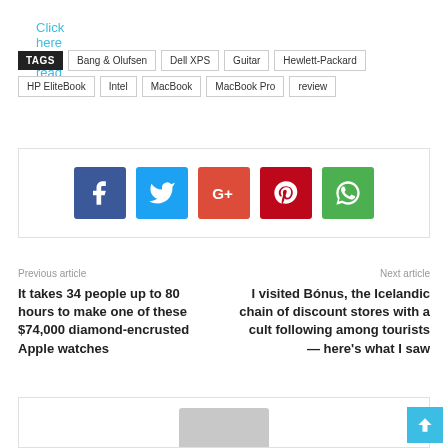Click here to read more
TAGS  Bang & Olufsen  Dell XPS  Guitar  Hewlett-Packard  HP EliteBook  Intel  MacBook  MacBook Pro  review
[Figure (infographic): Social share buttons: Facebook (blue), Twitter (light blue), Google+ (red-orange), Pinterest (dark red), WhatsApp (green)]
Previous article
It takes 34 people up to 80 hours to make one of these $74,000 diamond-encrusted Apple watches
Next article
I visited Bónus, the Icelandic chain of discount stores with a cult following among tourists — here's what I saw
[Figure (photo): Bottom author/avatar area with gray placeholder image]